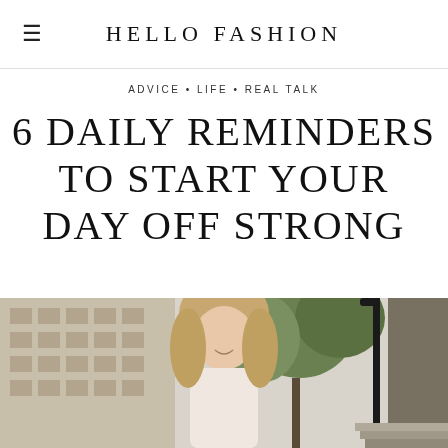HELLO FASHION
ADVICE • LIFE • REAL TALK
6 DAILY REMINDERS TO START YOUR DAY OFF STRONG
[Figure (photo): Woman with long wavy blonde hair standing outdoors on a city street, wearing a light-colored outfit. Urban background with buildings, trees, a street lamp, and steps visible.]